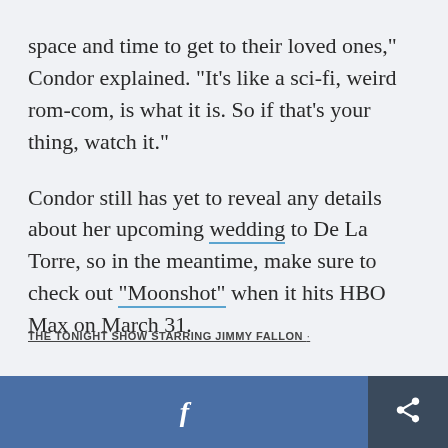space and time to get to their loved ones," Condor explained. "It's like a sci-fi, weird rom-com, is what it is. So if that's your thing, watch it."
Condor still has yet to reveal any details about her upcoming wedding to De La Torre, so in the meantime, make sure to check out "Moonshot" when it hits HBO Max on March 31.
THE TONIGHT SHOW STARRING JIMMY FALLON ·